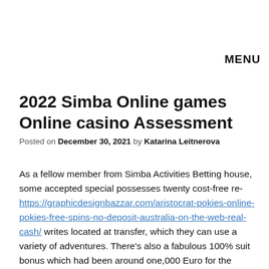MENU
2022 Simba Online games Online casino Assessment
Posted on December 30, 2021 by Katarina Leitnerova
As a fellow member from Simba Activities Betting house, some accepted special possesses twenty cost-free re- https://graphicdesignbazzar.com/aristocrat-pokies-online-pokies-free-spins-no-deposit-australia-on-the-web-real-cash/ writes located at transfer, which they can use a variety of adventures. There’s also a fabulous 100% suit bonus which had been around one,000 Euro for the reason that a great end user is what makes the